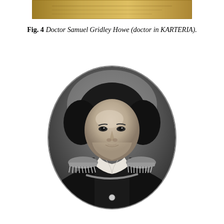[Figure (photo): Partial image of a historical document or painting visible at the very top of the page, cropped]
Fig. 4 Doctor Samuel Gridley Howe (doctor in KARTERIA).
[Figure (photo): Black and white oval portrait of Doctor Samuel Gridley Howe, a man in early 19th century military uniform with epaulettes and a white cravat, dark hair, looking slightly to his left]